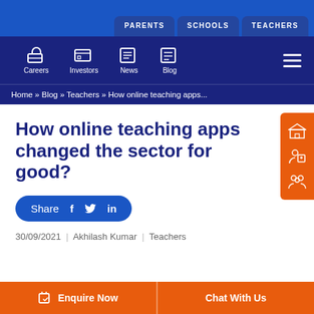PARENTS  SCHOOLS  TEACHERS
Careers  Investors  News  Blog
Home » Blog » Teachers » How online teaching apps...
How online teaching apps changed the sector for good?
Share  f  twitter  in
30/09/2021 | Akhilash Kumar | Teachers
Enquire Now  Chat With Us